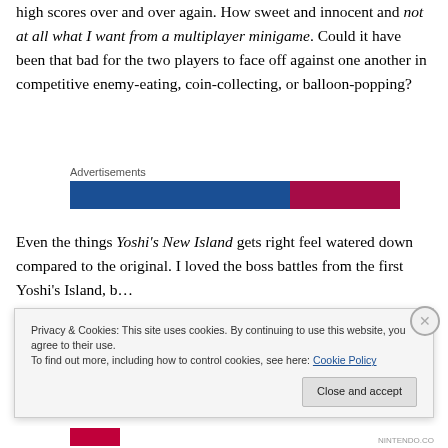high scores over and over again. How sweet and innocent and not at all what I want from a multiplayer minigame. Could it have been that bad for the two players to face off against one another in competitive enemy-eating, coin-collecting, or balloon-popping?
[Figure (other): Advertisement banner with dark blue background and red accent section on the right, labeled 'Advertisements']
Even the things Yoshi's New Island gets right feel watered down compared to the original. I loved the boss battles from the first Yoshi's Island, b...
Privacy & Cookies: This site uses cookies. By continuing to use this website, you agree to their use.
To find out more, including how to control cookies, see here: Cookie Policy